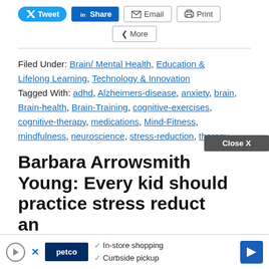[Figure (screenshot): Social sharing buttons: Tweet, Share (LinkedIn), Email, Print, and More]
Filed Under: Brain/ Mental Health, Education & Lifelong Learning, Technology & Innovation
Tagged With: adhd, Alzheimers-disease, anxiety, brain, Brain-health, Brain-Training, cognitive-exercises, cognitive-therapy, medications, Mind-Fitness, mindfulness, neuroscience, stress-reduction, therapy
Barbara Arrowsmith Young: Every kid should practice stress reduction and...